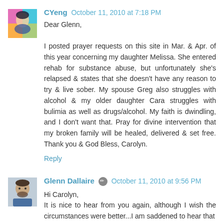[Figure (photo): Avatar image for user CYeng - colorful illustrated portrait]
CYeng  October 11, 2010 at 7:18 PM
Dear Glenn,

I posted prayer requests on this site in Mar. & Apr. of this year concerning my daughter Melissa. She entered rehab for substance abuse, but unfortunately she's relapsed & states that she doesn't have any reason to try & live sober. My spouse Greg also struggles with alcohol & my older daughter Cara struggles with bulimia as well as drugs/alcohol. My faith is dwindling, and I don't want that. Pray for divine intervention that my broken family will be healed, delivered & set free. Thank you & God Bless, Carolyn.
Reply
[Figure (photo): Avatar image for Glenn Dallaire - man with beard]
Glenn Dallaire [editor icon] October 11, 2010 at 9:56 PM
Hi Carolyn,
It is nice to hear from you again, although I wish the circumstances were better...I am saddened to hear that